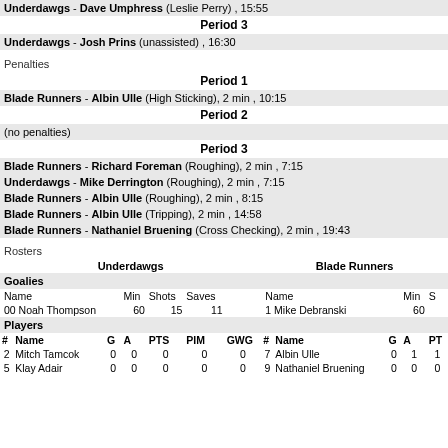Underdawgs - Dave Umphress (Leslie Perry) , 15:55
Period 3
Underdawgs - Josh Prins (unassisted) , 16:30
Penalties
Period 1
Blade Runners - Albin Ulle (High Sticking), 2 min , 10:15
Period 2
(no penalties)
Period 3
Blade Runners - Richard Foreman (Roughing), 2 min , 7:15
Underdawgs - Mike Derrington (Roughing), 2 min , 7:15
Blade Runners - Albin Ulle (Roughing), 2 min , 8:15
Blade Runners - Albin Ulle (Tripping), 2 min , 14:58
Blade Runners - Nathaniel Bruening (Cross Checking), 2 min , 19:43
Rosters
| # | Name | G | A | PTS | PIM | GWG | # | Name | G | A | PT |
| --- | --- | --- | --- | --- | --- | --- | --- | --- | --- | --- | --- |
| Goalies |  |  |  |  |  |  |  |  |  |  |  |
| Name |  |  | Min | Shots | Saves |  | Name |  |  | Min | S |
| 00 | Noah Thompson |  | 60 | 15 | 11 |  | 1 | Mike Debranski |  | 60 |  |
| Players |  |  |  |  |  |  |  |  |  |  |  |
| # | Name | G | A | PTS | PIM | GWG | # | Name | G | A | PT |
| 2 | Mitch Tamcok | 0 | 0 | 0 | 0 | 0 | 7 | Albin Ulle | 0 | 1 | 1 |
| 5 | Klay Adair | 0 | 0 | 0 | 0 | 0 | 9 | Nathaniel Bruening | 0 | 0 | 0 |